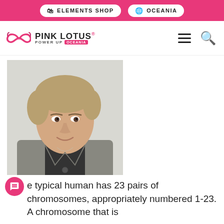ELEMENTS SHOP   OCEANIA
Mary-Claire King, PhD
[Figure (photo): Black and white portrait photo of Mary-Claire King, PhD — a woman with short blonde hair wearing a dark turtleneck and a grey tweed blazer, smiling at the camera against a light background.]
e typical human has 23 pairs of chromosomes, appropriately numbered 1-23. A chromosome that is